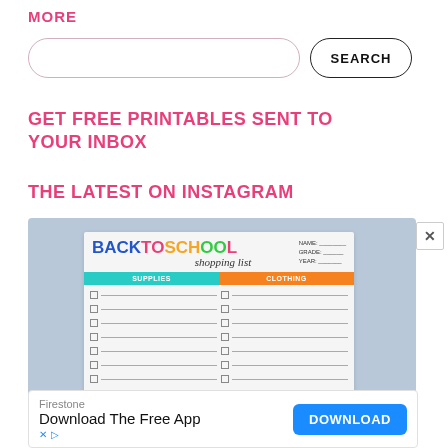MORE
[Figure (screenshot): Search bar with rounded input field and SEARCH button]
GET FREE PRINTABLES SENT TO YOUR INBOX
THE LATEST ON INSTAGRAM
[Figure (photo): Back to school shopping list printable preview with SUPPLIES and CLOTHING columns, checklist lines, and colorful header text on light blue background]
[Figure (infographic): Advertisement banner: Firestone - Download The Free App with DOWNLOAD button and ad icons]